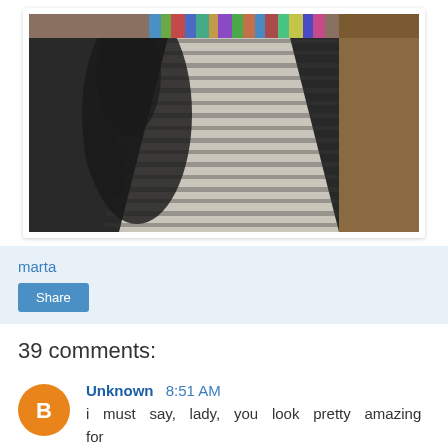[Figure (photo): A shadow of a person cast on a dark carpet floor, with a bright stripe of light (possibly reflected through window blinds) running diagonally across the floor. Bookshelves with colorful books are visible at the top of the image.]
marta
Share
39 comments:
Unknown 8:51 AM
i must say, lady, you look pretty amazing for